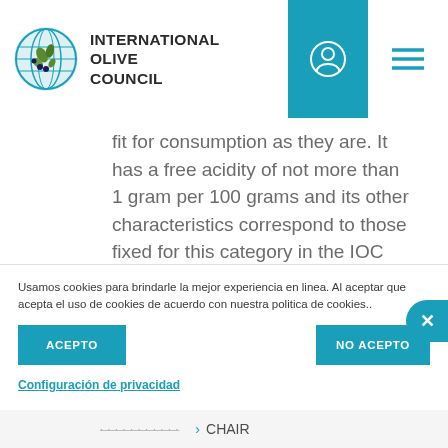INTERNATIONAL OLIVE COUNCIL
fit for consumption as they are. It has a free acidity of not more than 1 gram per 100 grams and its other characteristics correspond to those fixed for this category in the IOC standard. The country of retail sale may require a more specific designation.
Usamos cookies para brindarle la mejor experiencia en linea. Al aceptar que acepta el uso de cookies de acuerdo con nuestra politica de cookies..
ACEPTO
NO ACEPTO
Configuración de privacidad
CHAIR